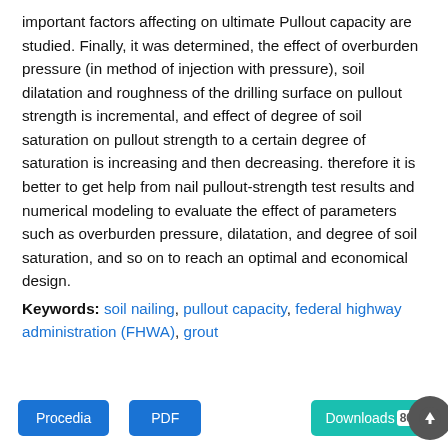important factors affecting on ultimate Pullout capacity are studied. Finally, it was determined, the effect of overburden pressure (in method of injection with pressure), soil dilatation and roughness of the drilling surface on pullout strength is incremental, and effect of degree of soil saturation on pullout strength to a certain degree of saturation is increasing and then decreasing. therefore it is better to get help from nail pullout-strength test results and numerical modeling to evaluate the effect of parameters such as overburden pressure, dilatation, and degree of soil saturation, and so on to reach an optimal and economical design.
Keywords: soil nailing, pullout capacity, federal highway administration (FHWA), grout